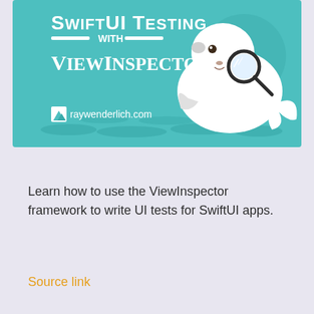[Figure (illustration): Banner image for 'SwiftUI Testing with ViewInspector' course on raywenderlich.com. Teal/turquoise background with a cartoon white seal holding a magnifying glass. White bold text reads 'SwiftUI Testing with ViewInspector'. raywenderlich.com logo at bottom left.]
Learn how to use the ViewInspector framework to write UI tests for SwiftUI apps.
Source link